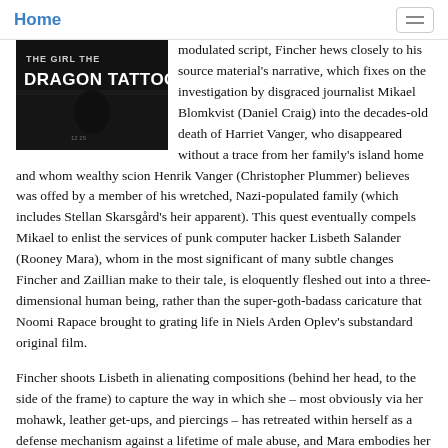Home
[Figure (photo): Movie poster for 'The Girl with the Dragon Tattoo' showing dark background with title text]
modulated script, Fincher hews closely to his source material's narrative, which fixes on the investigation by disgraced journalist Mikael Blomkvist (Daniel Craig) into the decades-old death of Harriet Vanger, who disappeared without a trace from her family's island home and whom wealthy scion Henrik Vanger (Christopher Plummer) believes was offed by a member of his wretched, Nazi-populated family (which includes Stellan Skarsgård's heir apparent). This quest eventually compels Mikael to enlist the services of punk computer hacker Lisbeth Salander (Rooney Mara), whom in the most significant of many subtle changes Fincher and Zaillian make to their tale, is eloquently fleshed out into a three-dimensional human being, rather than the super-goth-badass caricature that Noomi Rapace brought to grating life in Niels Arden Oplev's substandard original film.
Fincher shoots Lisbeth in alienating compositions (behind her head, to the side of the frame) to capture the way in which she – most obviously via her mohawk, leather get-ups, and piercings – has retreated within herself as a defense mechanism against a lifetime of male abuse, and Mara embodies her with a stoic anger that's muted by a constant look of hurt, vulnerability and fear in her wide-open eyes. Lisbeth feels real in